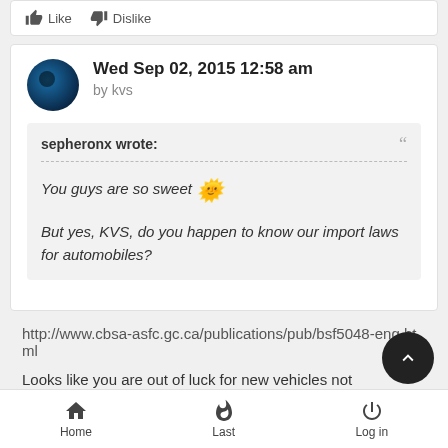Like   Dislike
Wed Sep 02, 2015 12:58 am
by kvs
sepheronx wrote:
You guys are so sweet 🌞
But yes, KVS, do you happen to know our import laws for automobiles?
http://www.cbsa-asfc.gc.ca/publications/pub/bsf5048-eng.html
Looks like you are out of luck for new vehicles not manufactured
Home   Last   Log in